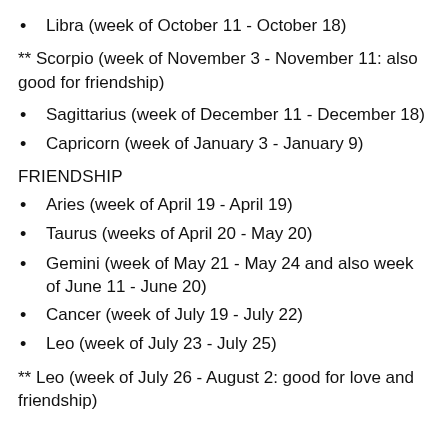Libra (week of October 11 - October 18)
** Scorpio (week of November 3 - November 11: also good for friendship)
Sagittarius (week of December 11 - December 18)
Capricorn (week of January 3 - January 9)
FRIENDSHIP
Aries (week of April 19 - April 19)
Taurus (weeks of April 20 - May 20)
Gemini (week of May 21 - May 24 and also week of June 11 - June 20)
Cancer (week of July 19 - July 22)
Leo (week of July 23 - July 25)
** Leo (week of July 26 - August 2: good for love and friendship)